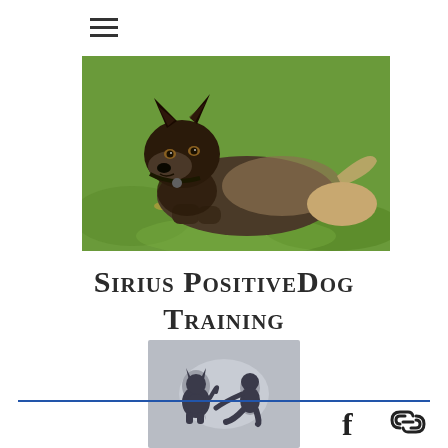[Figure (other): Hamburger menu icon (three horizontal lines)]
[Figure (photo): A German Shepherd dog lying on green grass, looking at the camera]
Sirius PositiveDog Training
[Figure (logo): Logo showing silhouette of a person sitting across from a dog, grey toned, with reflection below]
[Figure (other): Facebook icon and chain-link/hyperlink icon in the page footer area]